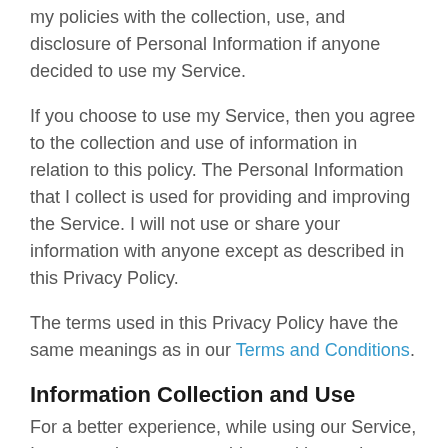my policies with the collection, use, and disclosure of Personal Information if anyone decided to use my Service.
If you choose to use my Service, then you agree to the collection and use of information in relation to this policy. The Personal Information that I collect is used for providing and improving the Service. I will not use or share your information with anyone except as described in this Privacy Policy.
The terms used in this Privacy Policy have the same meanings as in our Terms and Conditions.
Information Collection and Use
For a better experience, while using our Service, I may require you to provide us with certain personally identifiable information. The